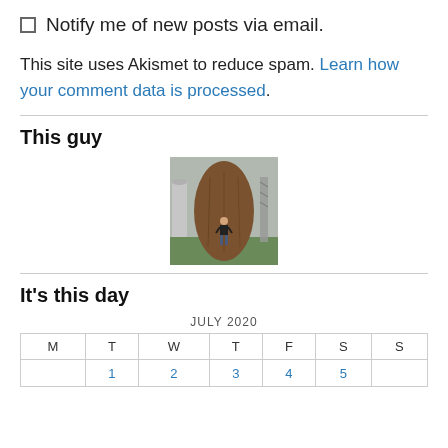Notify me of new posts via email.
This site uses Akismet to reduce spam. Learn how your comment data is processed.
This guy
[Figure (photo): A person standing in front of a large tree trunk sculpture or art installation, with industrial structures visible in the background.]
It's this day
| M | T | W | T | F | S | S |
| --- | --- | --- | --- | --- | --- | --- |
|  | 1 | 2 | 3 | 4 | 5 |